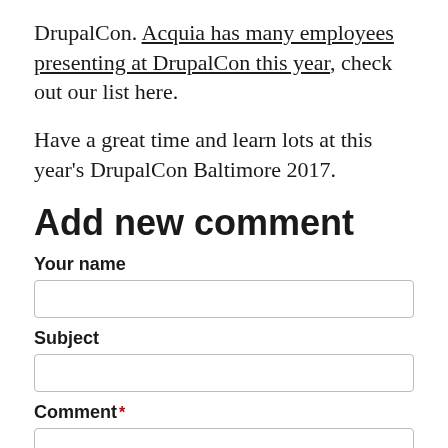DrupalCon. Acquia has many employees presenting at DrupalCon this year, check out our list here.
Have a great time and learn lots at this year's DrupalCon Baltimore 2017.
Add new comment
Your name
Subject
Comment*